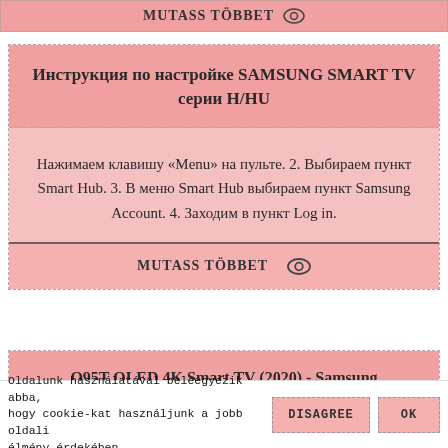MUTASS TÖBBET 👁
Инструкция по настройке SAMSUNG SMART TV серии H/HU
Нажимаем клавишу «Menu» на пульте. 2. Выбираем пункт Smart Hub. 3. В меню Smart Hub выбираем пункт Samsung Account. 4. Заходим в пункт Log in.
MUTASS TÖBBET 👁
Q95T QLED 4K Smart TV (2020) - Samsung
Oldalunk használatával beleegyezik abba, hogy cookie-kat használjunk a jobb oldali élmény érdekében.
DISAGREE
OK